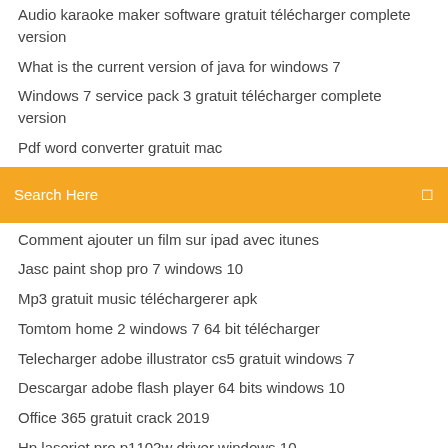Audio karaoke maker software gratuit télécharger complete version
What is the current version of java for windows 7
Windows 7 service pack 3 gratuit télécharger complete version
Pdf word converter gratuit mac
[Figure (screenshot): Orange/yellow search bar with text 'Search Here' and a small icon on the right]
Comment ajouter un film sur ipad avec itunes
Jasc paint shop pro 7 windows 10
Mp3 gratuit music téléchargerer apk
Tomtom home 2 windows 7 64 bit télécharger
Telecharger adobe illustrator cs5 gratuit windows 7
Descargar adobe flash player 64 bits windows 10
Office 365 gratuit crack 2019
Hp laserjet pro p1102w driver windows 10
Car game crazy taxi 3
Origin software gratuit télécharger trial version
Logiciel facture et devis mac gratuit